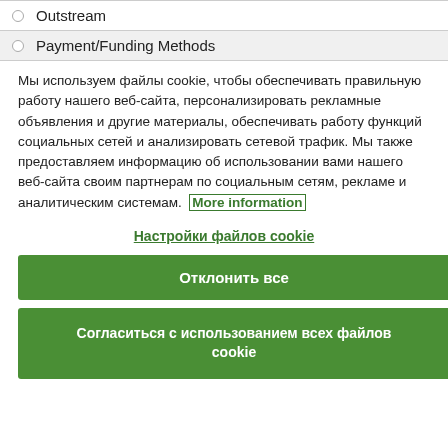Outstream
Payment/Funding Methods
Мы используем файлы cookie, чтобы обеспечивать правильную работу нашего веб-сайта, персонализировать рекламные объявления и другие материалы, обеспечивать работу функций социальных сетей и анализировать сетевой трафик. Мы также предоставляем информацию об использовании вами нашего веб-сайта своим партнерам по социальным сетям, рекламе и аналитическим системам. More information
Настройки файлов cookie
Отклонить все
Согласиться с использованием всех файлов cookie